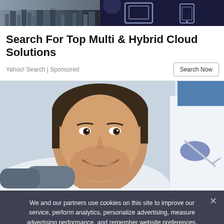[Figure (photo): Top banner image showing city skyline on left half and dark background with tablet/phone device outlines on right half]
Search For Top Multi & Hybrid Cloud Solutions
Yahoo! Search | Sponsored
Search Now
[Figure (photo): Young man smiling at dentist, reclining in dental chair, with a dentist in white coat and blue gloves holding dental instruments visible in background]
We and our partners use cookies on this site to improve our service, perform analytics, personalize advertising, measure advertising performance, and remember website preferences.
Ok